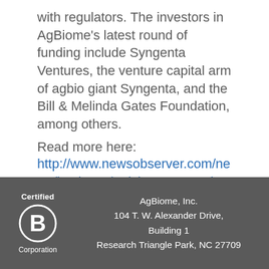with regulators. The investors in AgBiome's latest round of funding include Syngenta Ventures, the venture capital arm of agbio giant Syngenta, and the Bill & Melinda Gates Foundation, among others.
Read more here: http://www.newsobserver.com/news/business/article31544159.html#storylink=cpy
[Figure (logo): Certified B Corporation logo — a circled letter B with 'Certified' above and 'Corporation' below]
AgBiome, Inc.
104 T. W. Alexander Drive,
Building 1
Research Triangle Park, NC 27709